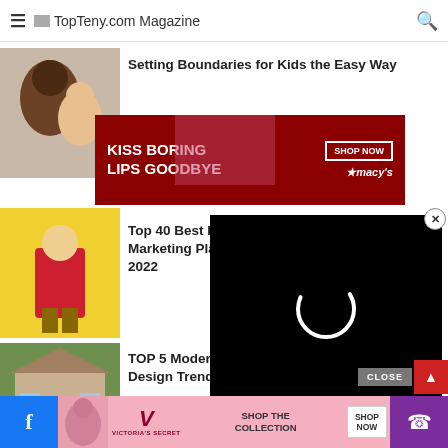TopTeny.com Magazine
Setting Boundaries for Kids the Easy Way
[Figure (photo): Photo of adult and child for parenting article]
[Figure (photo): Macy's advertisement banner - KISS BORING LIPS GOODBYE, SHOP NOW]
Top 40 Best Influencer Marketing Platforms in 2022
[Figure (photo): Woman in red outfit on yellow background for influencer article]
[Figure (other): Video overlay loading spinner on black background]
TOP 5 Modern Exterior Home Design Trends in Florida
[Figure (photo): Photo of a house exterior]
TOP 10 Best Solar Companies in the USA
[Figure (photo): Solar panels installation photo]
[Figure (photo): Victoria's Secret advertisement - SHOP THE COLLECTION, SHOP NOW]